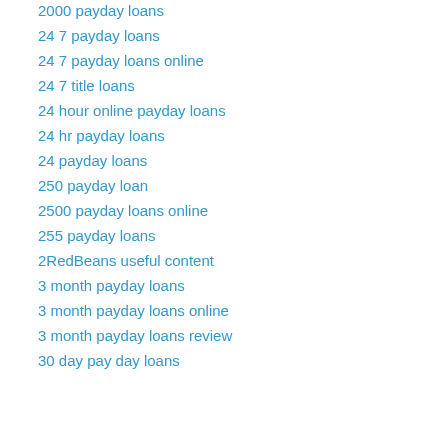2000 payday loans
24 7 payday loans
24 7 payday loans online
24 7 title loans
24 hour online payday loans
24 hr payday loans
24 payday loans
250 payday loan
2500 payday loans online
255 payday loans
2RedBeans useful content
3 month payday loans
3 month payday loans online
3 month payday loans review
30 day pay day loans